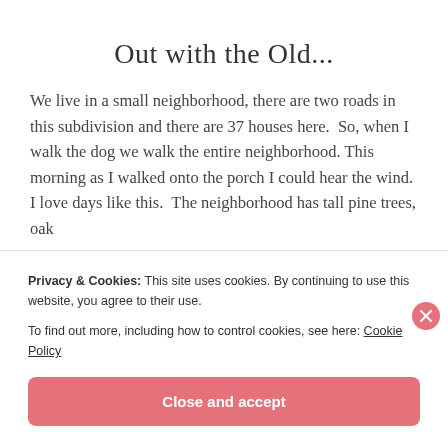Out with the Old...
We live in a small neighborhood, there are two roads in this subdivision and there are 37 houses here.  So, when I walk the dog we walk the entire neighborhood. This morning as I walked onto the porch I could hear the wind.  I love days like this.  The neighborhood has tall pine trees, oak
Continue reading →
Privacy & Cookies: This site uses cookies. By continuing to use this website, you agree to their use.
To find out more, including how to control cookies, see here: Cookie Policy
Close and accept